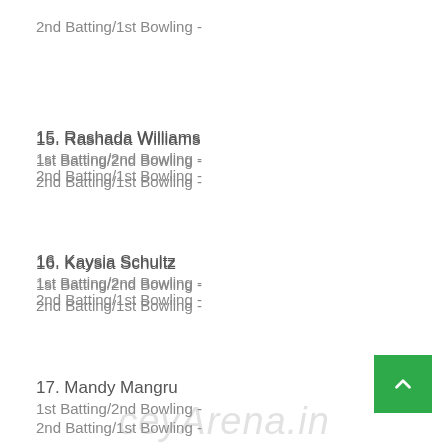2nd Batting/1st Bowling -
15. Rashada Williams
1st Batting/2nd Bowling -
2nd Batting/1st Bowling -
16. Kaysia Schultz
1st Batting/2nd Bowling -
2nd Batting/1st Bowling -
17. Mandy Mangru
1st Batting/2nd Bowling -
2nd Batting/1st Bowling -
18. Jannillea Glasgow
1st Batting/2nd Bowling -
2nd Batting/1st Bowling -